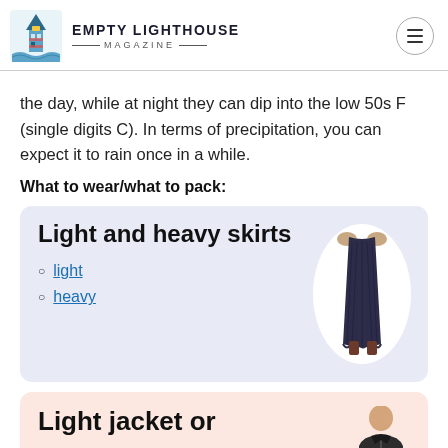Empty Lighthouse Magazine
the day, while at night they can dip into the low 50s F (single digits C). In terms of precipitation, you can expect it to rain once in a while.
What to wear/what to pack:
[Figure (photo): Product card with lavender background showing a dark navy maxi skirt worn by a model, with links to light and heavy versions]
[Figure (photo): Product card with peach background partially visible, showing a light jacket or similar garment]